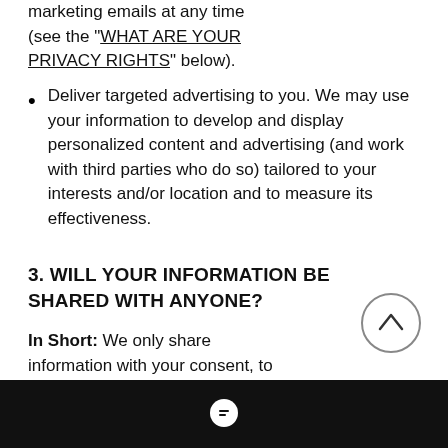marketing emails at any time (see the "WHAT ARE YOUR PRIVACY RIGHTS" below).
Deliver targeted advertising to you. We may use your information to develop and display personalized content and advertising (and work with third parties who do so) tailored to your interests and/or location and to measure its effectiveness.
3. WILL YOUR INFORMATION BE SHARED WITH ANYONE?
In Short:  We only share information with your consent, to